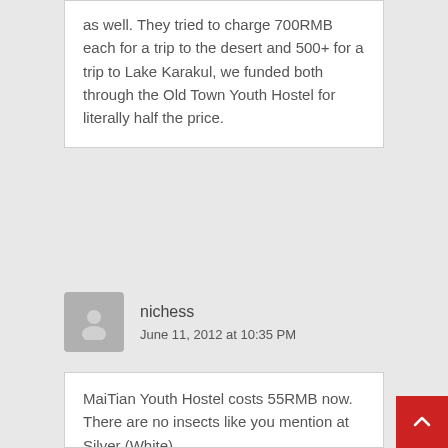as well. They tried to charge 700RMB each for a trip to the desert and 500+ for a trip to Lake Karakul, we funded both through the Old Town Youth Hostel for literally half the price.
nichess
June 11, 2012 at 10:35 PM
MaiTian Youth Hostel costs 55RMB now. There are no insects like you mention at Silver (White)